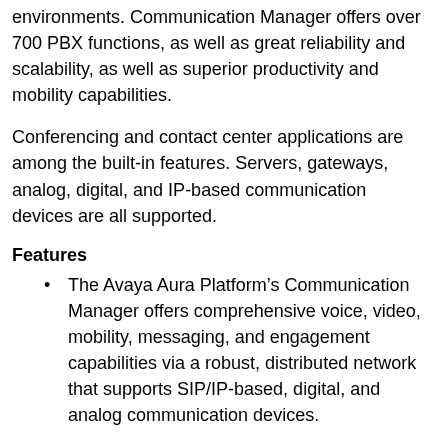environments. Communication Manager offers over 700 PBX functions, as well as great reliability and scalability, as well as superior productivity and mobility capabilities.
Conferencing and contact center applications are among the built-in features. Servers, gateways, analog, digital, and IP-based communication devices are all supported.
Features
The Avaya Aura Platform’s Communication Manager offers comprehensive voice, video, mobility, messaging, and engagement capabilities via a robust, distributed network that supports SIP/IP-based, digital, and analog communication devices.